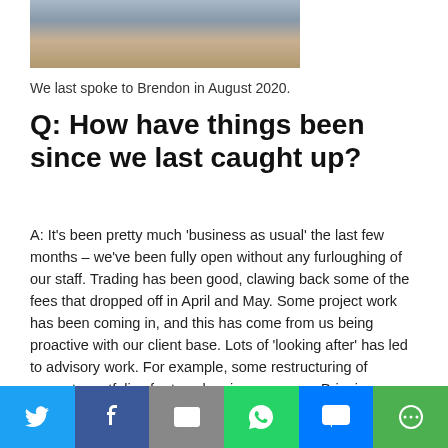[Figure (photo): Partial photo of a person (Brendon) cropped at top of page]
We last spoke to Brendon in August 2020.
Q: How have things been since we last caught up?
A: It's been pretty much ‘business as usual’ the last few months – we’ve been fully open without any furloughing of our staff. Trading has been good, clawing back some of the fees that dropped off in April and May. Some project work has been coming in, and this has come from us being proactive with our client base. Lots of ‘looking after’ has led to advisory work. For example, some restructuring of property portfolios for tax planning purposes. Bringing clients’
Share buttons: Twitter, Facebook, Email, WhatsApp, SMS, More